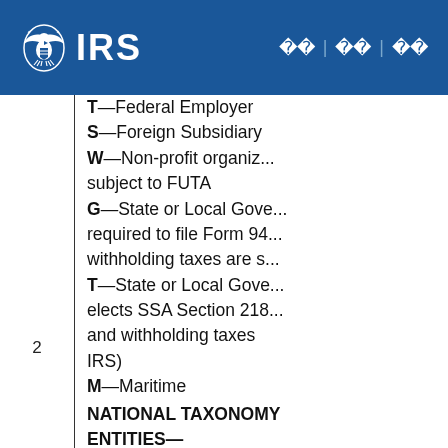IRS | [nav links]
T—Federal Employer
S—Foreign Subsidiary
W—Non-profit organizations subject to FUTA
G—State or Local Government required to file Form 94... withholding taxes are s...
T—State or Local Government elects SSA Section 218 and withholding taxes IRS)
M—Maritime
NATIONAL TAXONOMY ENTITIES—
first position—is an alp... second position—is a n... character
third and fourth site...